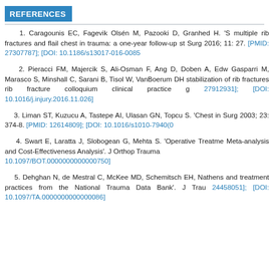REFERENCES
1. Caragounis EC, Fagevik Olsén M, Pazooki D, Granhed H. 'S... multiple rib fractures and flail chest in trauma: a one-year follow-up st... Surg 2016; 11: 27. [PMID: 27307787]; [DOI: 10.1186/s13017-016-0085...
2. Pieracci FM, Majercik S, Ali-Osman F, Ang D, Doben A, Edw... Gasparri M, Marasco S, Minshall C, Sarani B, Tisol W, VanBoerum DH... stabilization of rib fractures rib fracture colloquium clinical practice g... 27912931]; [DOI: 10.1016/j.injury.2016.11.026]
3. Liman ST, Kuzucu A, Tastepe AI, Ulasan GN, Topcu S. 'Chest in... Surg 2003; 23: 374-8. [PMID: 12614809]; [DOI: 10.1016/s1010-7940(0...
4. Swart E, Laratta J, Slobogean G, Mehta S. 'Operative Treatme... Meta-analysis and Cost-Effectiveness Analysis'. J Orthop Trauma ... 10.1097/BOT.0000000000000750]
5. Dehghan N, de Mestral C, McKee MD, Schemitsch EH, Nathens... and treatment practices from the National Trauma Data Bank'. J Trau... 24458051]; [DOI: 10.1097/TA.0000000000000086]